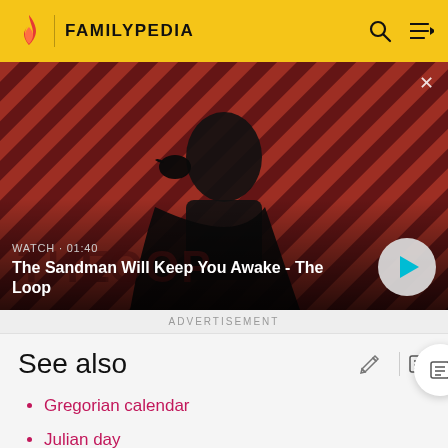FAMILYPEDIA
[Figure (screenshot): Video thumbnail showing a dark figure with a crow on shoulder against a red diagonal striped background. Text overlay shows 'WATCH · 01:40' and title 'The Sandman Will Keep You Awake - The Loop' with a play button on the right.]
ADVERTISEMENT
See also
Gregorian calendar
Julian day